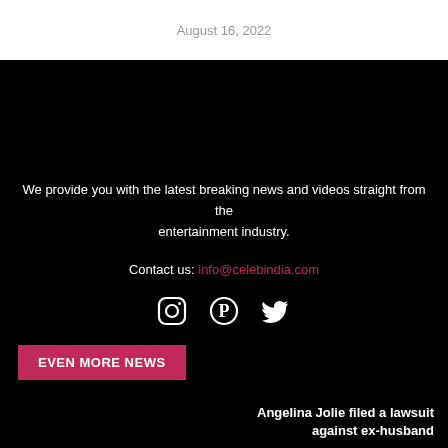August 16, 2022
We provide you with the latest breaking news and videos straight from the entertainment industry.
Contact us: info@celebindia.com
[Figure (infographic): Social media icons: Instagram, Pinterest, Twitter]
EVEN MORE NEWS
Angelina Jolie filed a lawsuit against ex-husband